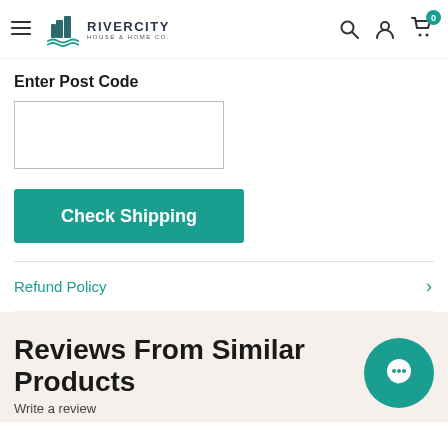RIVERCITY HOUSE & HOME CO.
Enter Post Code
Check Shipping
Refund Policy
Reviews From Similar Products
Write a review